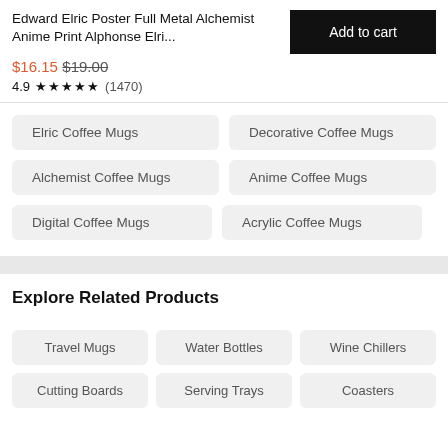Edward Elric Poster Full Metal Alchemist Anime Print Alphonse Elri...
$16.15 $19.00
4.9 ★★★★★ (1470)
Add to cart
Elric Coffee Mugs
Decorative Coffee Mugs
Alchemist Coffee Mugs
Anime Coffee Mugs
Digital Coffee Mugs
Acrylic Coffee Mugs
Explore Related Products
Travel Mugs
Water Bottles
Wine Chillers
Cutting Boards
Serving Trays
Coasters